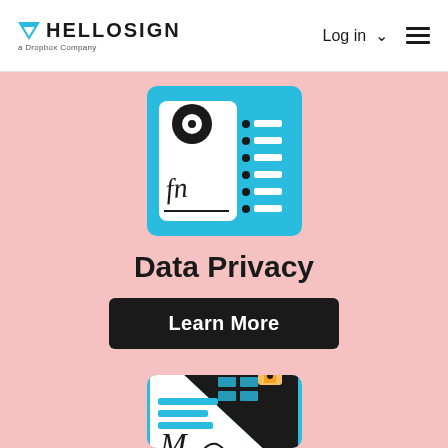HELLOSIGN a Dropbox Company | Log in | Menu
[Figure (illustration): HelloSign document illustration with signature and list icon on cyan background]
Data Privacy
Learn More
[Figure (illustration): HelloSign secure signature document with lock icon on cyan background, half black diagonal]